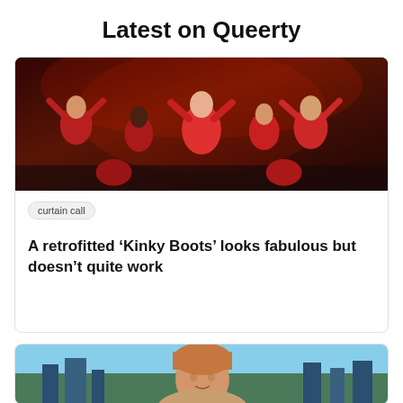Latest on Queerty
[Figure (photo): Performers in red costumes on stage from Kinky Boots musical]
curtain call
A retrofitted ‘Kinky Boots’ looks fabulous but doesn’t quite work
[Figure (photo): Person with auburn/red hair against a city skyline background]